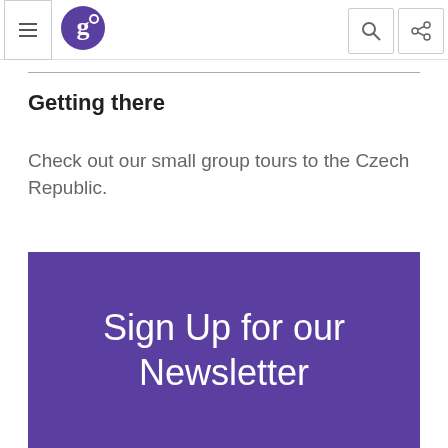G logo navigation header with hamburger menu, search, and share icons
Getting there
Check out our small group tours to the Czech Republic.
[Figure (infographic): Purple banner with white text reading 'Sign Up for our Newsletter']